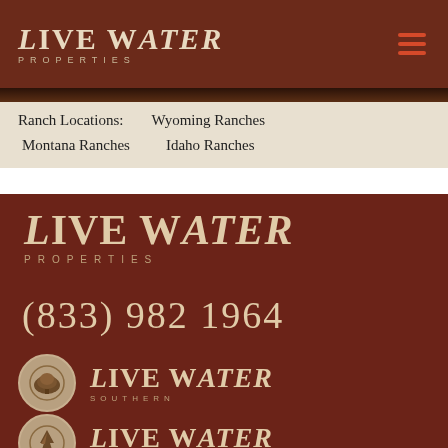[Figure (logo): Live Water Properties logo in header bar with hamburger menu icon]
Ranch Locations:    Wyoming Ranches
Montana Ranches    Idaho Ranches
[Figure (logo): Large Live Water Properties logo on brown background]
(833) 982 1964
[Figure (logo): Live Water Southern logo with tree circle icon]
[Figure (logo): Live Water Jackson Hole logo with pine tree circle icon]